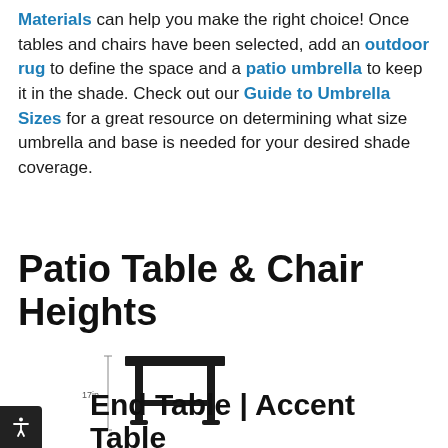Materials can help you make the right choice! Once tables and chairs have been selected, add an outdoor rug to define the space and a patio umbrella to keep it in the shade. Check out our Guide to Umbrella Sizes for a great resource on determining what size umbrella and base is needed for your desired shade coverage.
Patio Table & Chair Heights
[Figure (illustration): Line drawing of a small end table / accent table shown in profile with a dimension indicator on the left side showing height]
End Table | Accent Table